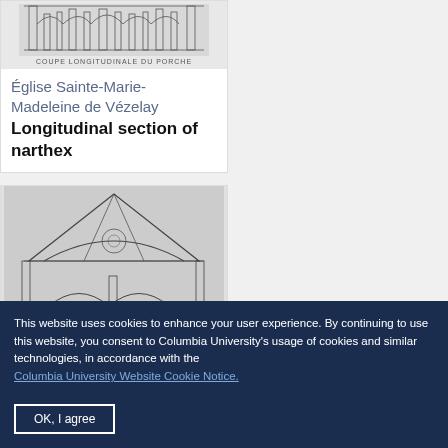[Figure (illustration): Architectural longitudinal section drawing of the narthex of Église Sainte-Marie-Madeleine de Vézelay, with caption 'COUPE LONGITUDINALE DU PORCHE']
Église Sainte-Marie-Madeleine de Vézelay
Longitudinal section of narthex
[Figure (illustration): Architectural cross-section elevation drawing of Église Sainte-Marie-Madeleine de Vézelay showing the facade with arches and gabled roof]
This website uses cookies to enhance your user experience. By continuing to use this website, you consent to Columbia University's usage of cookies and similar technologies, in accordance with the Columbia University Website Cookie Notice.
OK, I agree